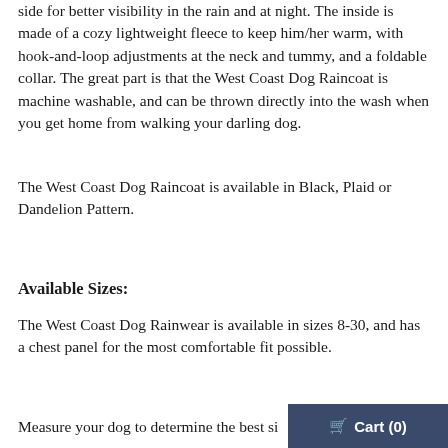side for better visibility in the rain and at night. The inside is made of a cozy lightweight fleece to keep him/her warm, with hook-and-loop adjustments at the neck and tummy, and a foldable collar. The great part is that the West Coast Dog Raincoat is machine washable, and can be thrown directly into the wash when you get home from walking your darling dog.
The West Coast Dog Raincoat is available in Black, Plaid or Dandelion Pattern.
Available Sizes:
The West Coast Dog Rainwear is available in sizes 8-30, and has a chest panel for the most comfortable fit possible.
Measure your dog to determine the best si...